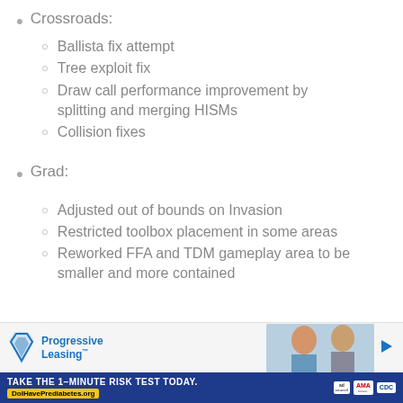Crossroads:
Ballista fix attempt
Tree exploit fix
Draw call performance improvement by splitting and merging HISMs
Collision fixes
Grad:
Adjusted out of bounds on Invasion
Restricted toolbox placement in some areas
Reworked FFA and TDM gameplay area to be smaller and more contained
[Figure (illustration): Progressive Leasing advertisement banner showing logo and two smiling people]
[Figure (illustration): Blue banner advertisement: TAKE THE 1-MINUTE RISK TEST TODAY. DoIHavePrediabetes.org with ad council, AMA, and CDC logos]